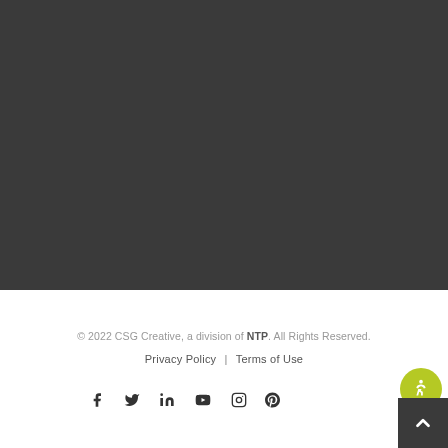[Figure (other): Dark gray background section filling the upper portion of the page]
© 2022 CSG Creative, a division of NTP. All Rights Reserved.
Privacy Policy | Terms of Use
[Figure (other): Social media icons row: Facebook, Twitter, LinkedIn, YouTube, Instagram, Pinterest]
[Figure (other): Accessibility button (green circle with person icon) and dark back-to-top arrow button in bottom right corner]